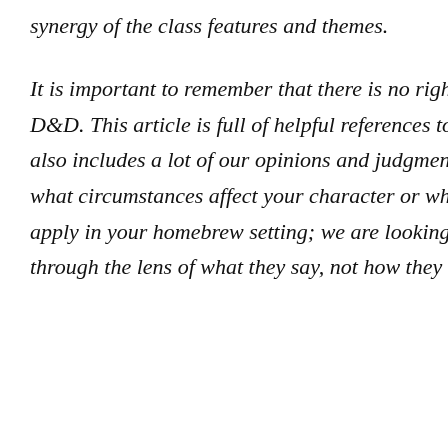synergy of the class features and themes.
It is important to remember that there is no right way to play D&D. This article is full of helpful references to the rules, but it also includes a lot of our opinions and judgment. We don’t know what circumstances affect your character or what special rules apply in your homebrew setting; we are looking at the rules through the lens of what they say, not how they are used.
Know Abo...
D&D 5e: ...
Preparing...
Buy our content on Dungeons Masters Guild!